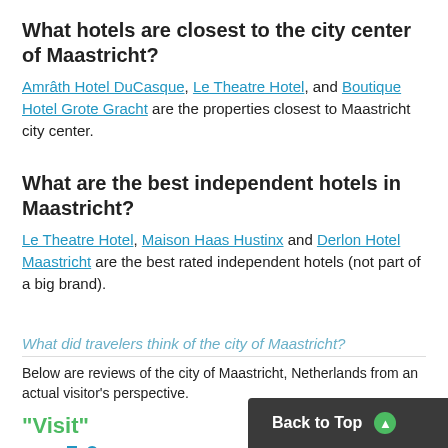What hotels are closest to the city center of Maastricht?
Amrâth Hotel DuCasque, Le Theatre Hotel, and Boutique Hotel Grote Gracht are the properties closest to Maastricht city center.
What are the best independent hotels in Maastricht?
Le Theatre Hotel, Maison Haas Hustinx and Derlon Hotel Maastricht are the best rated independent hotels (not part of a big brand).
What did travelers think of the city of Maastricht?
Below are reviews of the city of Maastricht, Netherlands from an actual visitor's perspective.
"Visit"
Score 5.0 / 5
A beautiful city, many shops.